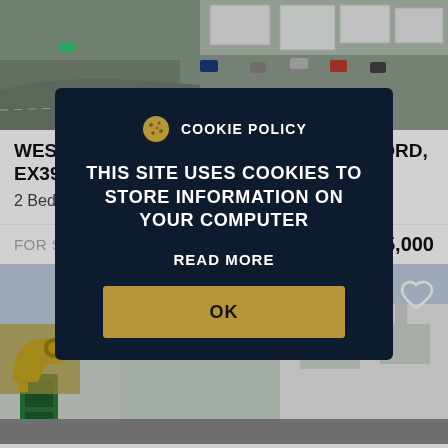[Figure (photo): Aerial view of a parking area with cars and white buildings]
WESTWARD HO WESTWARD HO, BIDEFORD, EX39 1LD
2 Bed Flat
FOR SALE   Guide price £175,000
[Figure (photo): Street-level photo of a property with a green door and a white house visible]
COOKIE POLICY
THIS SITE USES COOKIES TO STORE INFORMATION ON YOUR COMPUTER
READ MORE
OK